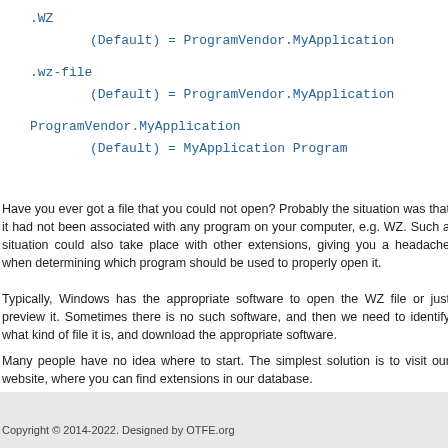.WZ
    (Default) = ProgramVendor.MyApplication

.wz-file
    (Default) = ProgramVendor.MyApplication

ProgramVendor.MyApplication
    (Default) = MyApplication Program
Have you ever got a file that you could not open? Probably the situation was that it had not been associated with any program on your computer, e.g. WZ. Such a situation could also take place with other extensions, giving you a headache when determining which program should be used to properly open it.
Typically, Windows has the appropriate software to open the WZ file or just preview it. Sometimes there is no such software, and then we need to identify what kind of file it is, and download the appropriate software.
Many people have no idea where to start. The simplest solution is to visit our website, where you can find extensions in our database.
Copyright © 2014-2022. Designed by OTFE.org